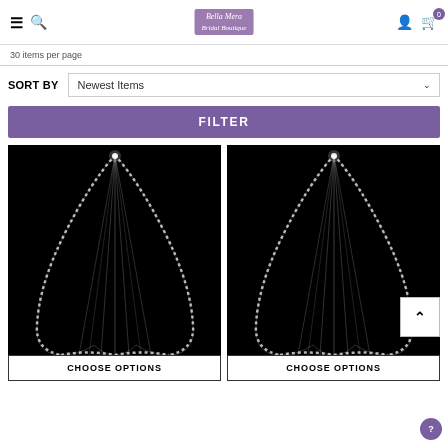Bella Mera Bridal Boutique — navigation header with hamburger menu, search, logo, account, and cart (0 items)
30 items per page
SORT BY   Newest Items
FILTER
[Figure (photo): Wedding veil on black background, left product]
CHOOSE OPTIONS
[Figure (photo): Wedding veil on black background, right product]
CHOOSE OPTIONS